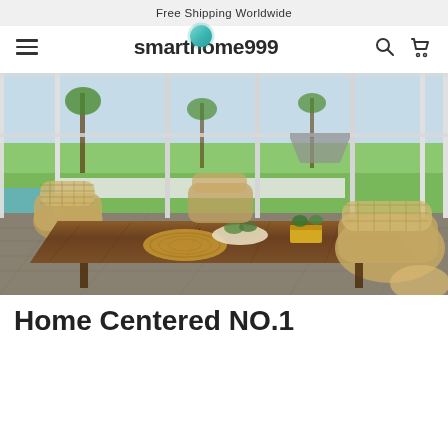Free Shipping Worldwide
[Figure (logo): smarthome999 logo with teal circle above the 'o' in home]
[Figure (photo): Indoor dining area with rustic wooden table, wicker/rattan chairs, woven placemat, plant decorations, and large floor-to-ceiling windows overlooking a lush green garden with palm trees, pool visible on the left]
Home Centered NO.1